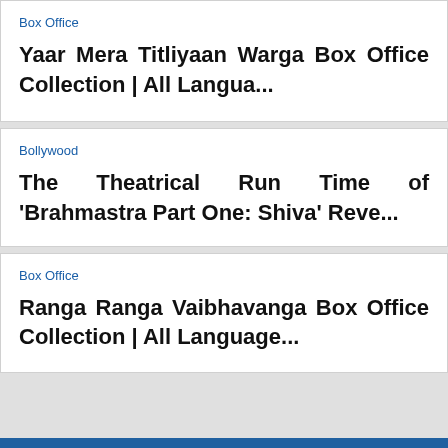Box Office
Yaar Mera Titliyaan Warga Box Office Collection | All Langua...
Bollywood
The Theatrical Run Time of 'Brahmastra Part One: Shiva' Reve...
Box Office
Ranga Ranga Vaibhavanga Box Office Collection | All Language...